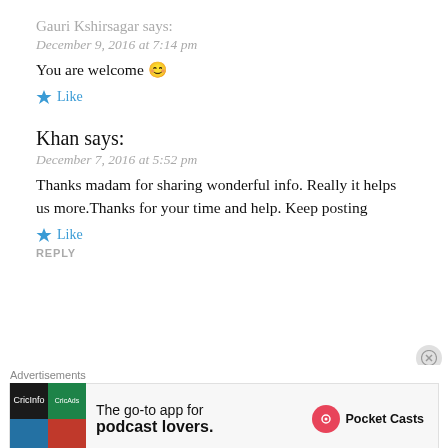Gauri Kshirsagar says:
December 9, 2016 at 7:14 pm
You are welcome 😊
★ Like
Khan says:
December 7, 2016 at 5:52 pm
Thanks madam for sharing wonderful info. Really it helps us more.Thanks for your time and help. Keep posting
★ Like
REPLY
Advertisements
[Figure (screenshot): Pocket Casts advertisement banner: The go-to app for podcast lovers.]